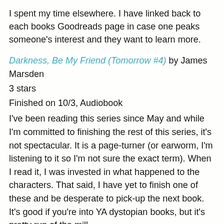I spent my time elsewhere. I have linked back to each books Goodreads page in case one peaks someone's interest and they want to learn more.
Darkness, Be My Friend (Tomorrow #4) by James Marsden
3 stars
Finished on 10/3, Audiobook
I've been reading this series since May and while I'm committed to finishing the rest of this series, it's not spectacular. It is a page-turner (or earworm, I'm listening to it so I'm not sure the exact term). When I read it, I was invested in what happened to the characters. That said, I have yet to finish one of these and be desperate to pick-up the next book. It's good if you're into YA dystopian books, but it's pretty run of the mill.
Still Star-Crossed by Melinda Taub
3 stars